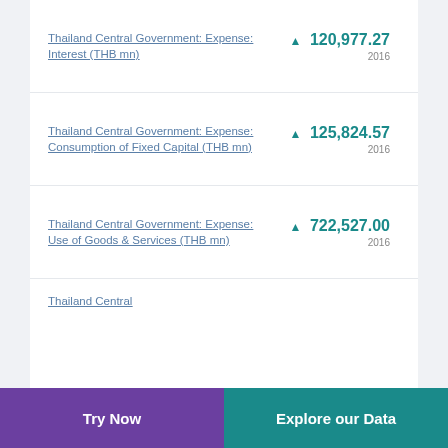Thailand Central Government: Expense: Interest (THB mn) ▲ 120,977.27 2016
Thailand Central Government: Expense: Consumption of Fixed Capital (THB mn) ▲ 125,824.57 2016
Thailand Central Government: Expense: Use of Goods & Services (THB mn) ▲ 722,527.00 2016
Thailand Central Government: Expense: (partial)
Try Now | Explore our Data